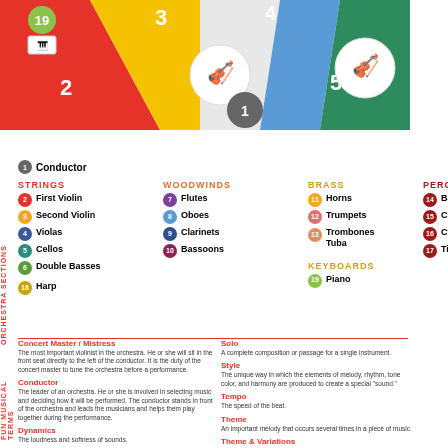[Figure (infographic): Colorful orchestra seating diagram with numbered sections and instrument photos in circles on colored wedge backgrounds. Numbers visible: 19, 2, 3, 4, 1, 5.]
1 Conductor
STRINGS
2 First Violin
3 Second Violin
4 Violas
5 Cellos
6 Double Basses
18 Harp
WOODWINDS
7 Flutes
8 Oboes
9 Clarinets
10 Bassoons
BRASS
11 Horns
12 Trumpets
13 Trombones Tuba
PERCUSSION
14 Bass Drum
15 Chimes
16 Cymbals
17 Timpani
KEYBOARDS
19 Piano
Concert Master / Mistress
The most important violinist in the orchestra. He or she will sit in the front seat directly to the left of the conductor. It is the duty of the concert master to tune the orchestra before a performance.
Conductor
The leader of an orchestra. He or she is involved in selecting music and deciding how it will be performed. The conductor stands in front of the orchestra and leads the musicians and helps them play together during the performance.
Dynamics
The loudness and softness of sounds.
Meter
The way beats of music are grouped, often in sets of two or in sets of three, four or six.
Orchestra Chairs
Orchestra musicians are given seats in accordance with their abilities and experience on their instrument. The most skilled musician sits in the first chair of each section and plays any solo parts for that instrument. The next most skilled player would sit in the second chair and the least skilled musician would sit in the last chair of his or her section.
Solo
A complete composition or passage for a single instrument.
Style
The unique way in which the elements of melody, rhythm, tone color, and harmony are produced to create a special "sound."
Tempo
The speed of the beat.
Theme
An important melody that occurs several times in a piece of music.
Theme & Variations
A composition, each section of which is an alternation of the initial theme. A variation may alter the theme by changing musical elements such as its dynamics, meter, style, tempo, tone color and/or harmony.
RedlandsSymphony.com
909.587.5565
Find us on Facebook